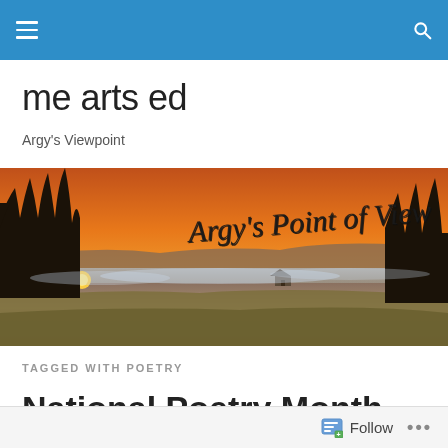me arts ed — navigation bar with hamburger menu and search icon
me arts ed
Argy's Viewpoint
[Figure (photo): Scenic sunset landscape with orange sky, silhouetted trees, rolling hills, mist in a valley, a house in the distance, and the text 'Argy's Point of View' in cursive script overlaid on the right side.]
TAGGED WITH POETRY
National Poetry Month
Follow •••